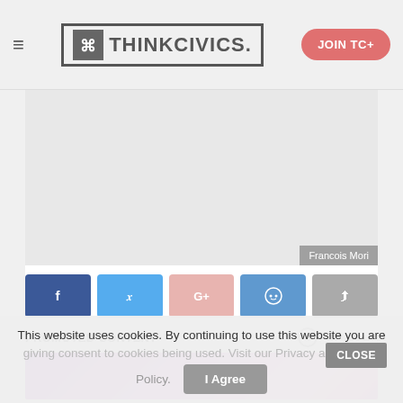THINKCIVICS. | JOIN TC+
[Figure (photo): Gray placeholder image area with photo credit 'Francois Mori' in bottom right corner]
Facebook share | Twitter share | Google+ share | Reddit share | Share
PROMOTED CONTENT
[Figure (photo): Promoted content image with purple/pink background showing a performer]
This website uses cookies. By continuing to use this website you are giving consent to cookies being used. Visit our Privacy and Cookie Policy.
I Agree